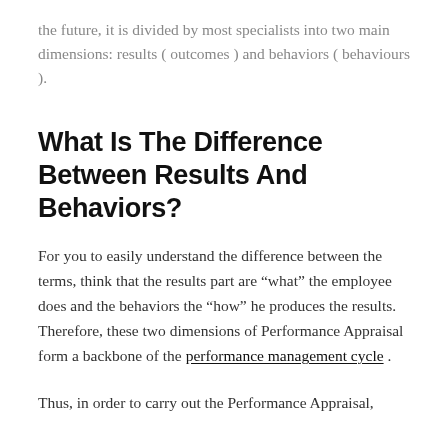the future, it is divided by most specialists into two main dimensions: results ( outcomes ) and behaviors ( behaviours ).
What Is The Difference Between Results And Behaviors?
For you to easily understand the difference between the terms, think that the results part are “what” the employee does and the behaviors the “how” he produces the results. Therefore, these two dimensions of Performance Appraisal form a backbone of the performance management cycle .
Thus, in order to carry out the Performance Appraisal,